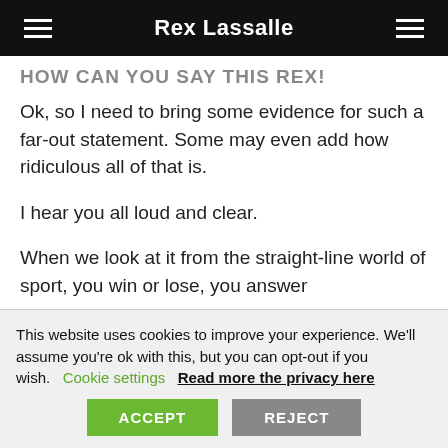Rex Lassalle
HOW CAN YOU SAY THIS REX!
Ok, so I need to bring some evidence for such a far-out statement. Some may even add how ridiculous all of that is.
I hear you all loud and clear.
When we look at it from the straight-line world of sport, you win or lose, you answer
This website uses cookies to improve your experience. We'll assume you're ok with this, but you can opt-out if you wish.    Cookie settings    Read more the privacy here